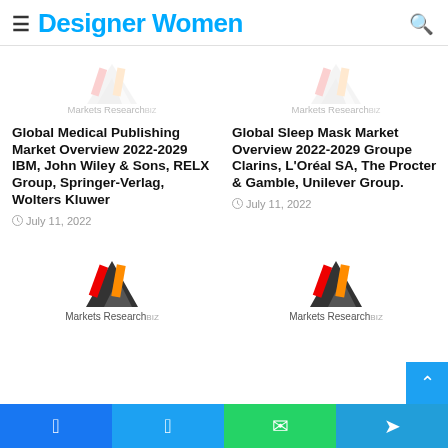Designer Women
[Figure (logo): Markets Research logo (faded/watermark) - left]
[Figure (logo): Markets Research logo (faded/watermark) - right]
Global Medical Publishing Market Overview 2022-2029 IBM, John Wiley & Sons, RELX Group, Springer-Verlag, Wolters Kluwer
July 11, 2022
Global Sleep Mask Market Overview 2022-2029 Groupe Clarins, L'Oréal SA, The Procter & Gamble, Unilever Group.
July 11, 2022
[Figure (logo): Markets Research logo - left bottom]
[Figure (logo): Markets Research logo - right bottom]